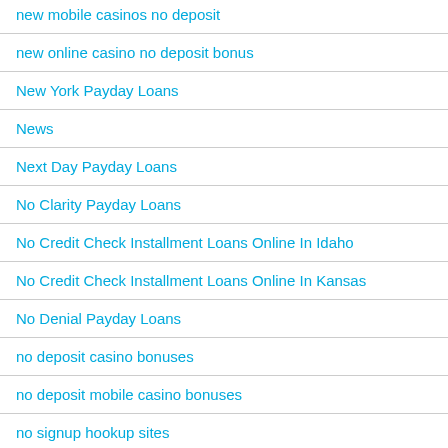new mobile casinos no deposit
new online casino no deposit bonus
New York Payday Loans
News
Next Day Payday Loans
No Clarity Payday Loans
No Credit Check Installment Loans Online In Idaho
No Credit Check Installment Loans Online In Kansas
No Denial Payday Loans
no deposit casino bonuses
no deposit mobile casino bonuses
no signup hookup sites